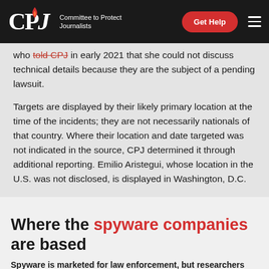CPJ — Committee to Protect Journalists
who told CPJ in early 2021 that she could not discuss technical details because they are the subject of a pending lawsuit.
Targets are displayed by their likely primary location at the time of the incidents; they are not necessarily nationals of that country. Where their location and date targeted was not indicated in the source, CPJ determined it through additional reporting. Emilio Aristegui, whose location in the U.S. was not disclosed, is displayed in Washington, D.C.
Where the spyware companies are based
Spyware is marketed for law enforcement, but researchers have